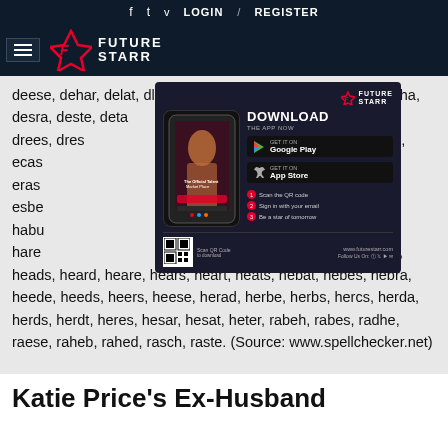f  t  v  LOGIN / REGISTER
[Figure (logo): Future Starr logo with hamburger menu on dark navy background]
deese, dehar, delat, dlobe, dense, dense, deanc, desch, desha, desra, deste, deta, drabs, drace, drats, drees, dres, eased, easer, eater, eathe, ecas, edhec, eesah, eetch, ehret, eras, erede, ereth, erste, esbat, esbe, etche, ether, etree, haber, habu, e, haets, hardc, hardt, hareb, hare, haste, hated, hater, hbase, hbert, heads, heard, heare, hears, heart, heats, hebat, hebes, hebra, heede, heeds, heers, heese, herad, herbe, herbs, hercs, herda, herds, herdt, heres, hesar, hesat, heter, rabeh, rabes, radhe, raese, raheb, rahed, rasch, raste. (Source: www.spellchecker.net)
[Figure (screenshot): Future Starr app advertisement with phone mockup, download buttons for Google Play and App Store, QR code, and 3 steps]
Katie Price's Ex-Husband